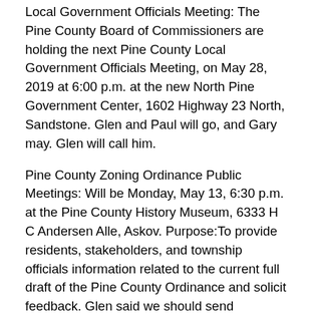Local Government Officials Meeting: The Pine County Board of Commissioners are holding the next Pine County Local Government Officials Meeting, on May 28, 2019 at 6:00 p.m. at the new North Pine Government Center, 1602 Highway 23 North, Sandstone. Glen and Paul will go, and Gary may. Glen will call him.
Pine County Zoning Ordinance Public Meetings: Will be Monday, May 13, 6:30 p.m. at the Pine County History Museum, 6333 H C Andersen Alle, Askov. Purpose:To provide residents, stakeholders, and township officials information related to the current full draft of the Pine County Ordinance and solicit feedback. Glen said we should send someone; Mike said we've agreed that he could go; Glen wants Paul to go also to take notes.
VFD Pancake Breakfast: Mike asked if the Duxbury VFD can use the hall May 26 for the breakfast. Glen moved yes; Gary seconded. Tables for Hall: Mike is going to surplus